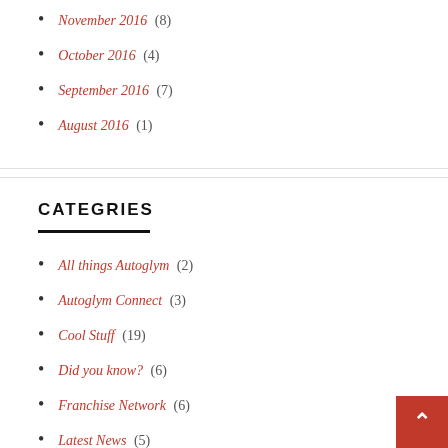November 2016 (8)
October 2016 (4)
September 2016 (7)
August 2016 (1)
CATEGRIES
All things Autoglym (2)
Autoglym Connect (3)
Cool Stuff (19)
Did you know? (6)
Franchise Network (6)
Latest News (5)
Motorsports (38)
Pro-Tips (6)